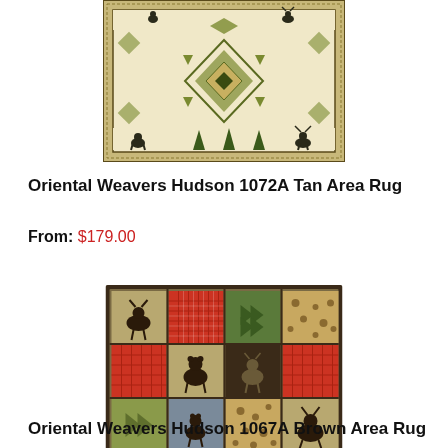[Figure (photo): Oriental Weavers Hudson 1072A Tan Area Rug - tan/cream background with geometric Southwestern pattern and wildlife silhouettes border]
Oriental Weavers Hudson 1072A Tan Area Rug
From: $179.00
[Figure (photo): Oriental Weavers Hudson 1067A Brown Area Rug - patchwork style with red plaid squares, moose and wildlife silhouettes, dark brown border]
Oriental Weavers Hudson 1067A Brown Area Rug